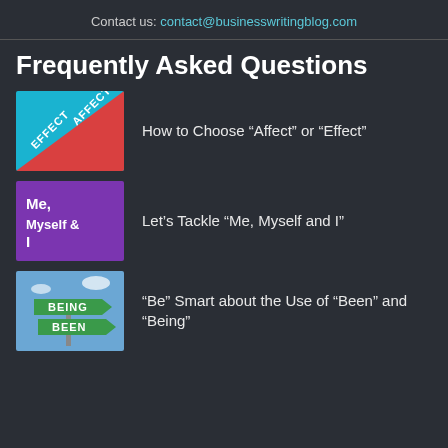Contact us: contact@businesswritingblog.com
Frequently Asked Questions
How to Choose “Affect” or “Effect”
Let’s Tackle “Me, Myself and I”
“Be” Smart about the Use of “Been” and “Being”